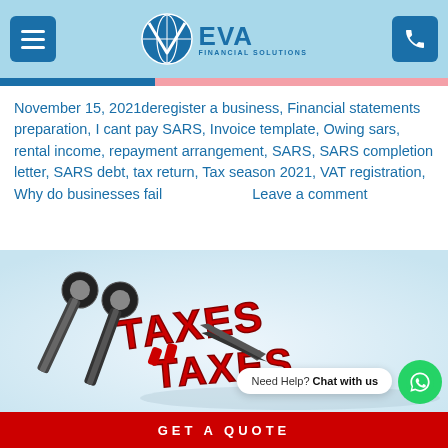EVA Financial Solutions — header navigation with menu icon, logo, and phone icon
November 15, 2021deregister a business, Financial statements preparation, I cant pay SARS, Invoice template, Owing sars, rental income, repayment arrangement, SARS, SARS completion letter, SARS debt, tax return, Tax season 2021, VAT registration, Why do businesses fail     Leave a comment
[Figure (illustration): 3D red bold text TAXES being cut by large black scissors on light blue background]
GET A QUOTE